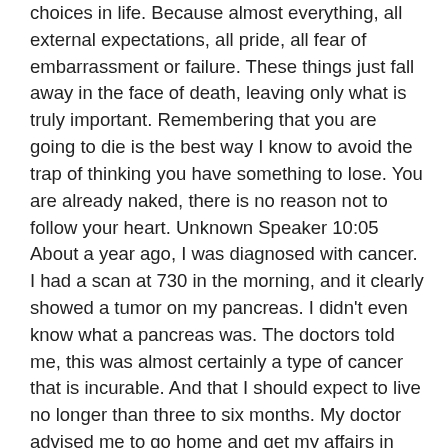choices in life. Because almost everything, all external expectations, all pride, all fear of embarrassment or failure. These things just fall away in the face of death, leaving only what is truly important. Remembering that you are going to die is the best way I know to avoid the trap of thinking you have something to lose. You are already naked, there is no reason not to follow your heart. Unknown Speaker 10:05 About a year ago, I was diagnosed with cancer. I had a scan at 730 in the morning, and it clearly showed a tumor on my pancreas. I didn't even know what a pancreas was. The doctors told me, this was almost certainly a type of cancer that is incurable. And that I should expect to live no longer than three to six months. My doctor advised me to go home and get my affairs in order, which is doctors code for Prepare to die. It means to try and tell your kids everything you thought you'd have the next 10 years to tell them in just a few months. It means to make sure everything is buttoned up. So that will be as easy as possible for your family. It means to say your goodbyes. I live with that diagnosis all day. Later that evening, I had a biopsy, where they stuck an endoscope down my throat, through my stomach and into my intestines, put a needle